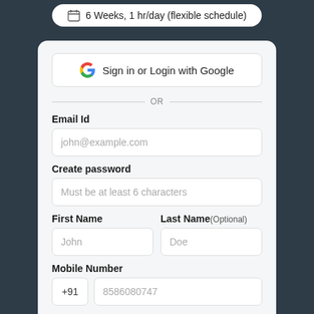6 Weeks, 1 hr/day (flexible schedule)
[Figure (screenshot): Sign in or Login with Google button with Google G logo]
OR
Email Id
john@example.com
Create password
Must be at least 6 characters
First Name
Last Name (Optional)
John
Doe
Mobile Number
+91
8586080747
Coupon code
Choose batch